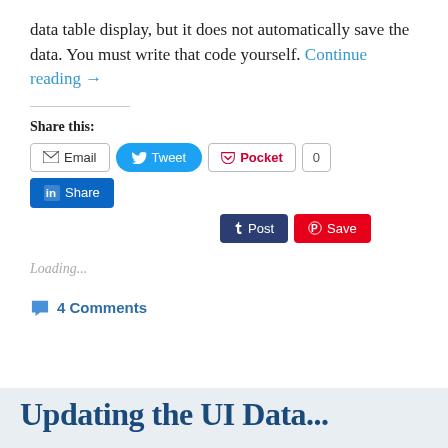data table display, but it does not automatically save the data. You must write that code yourself. Continue reading →
Share this:
Email  Tweet  Pocket  0  Share  Post  Save
Loading...
4 Comments
Updating the UI Data...